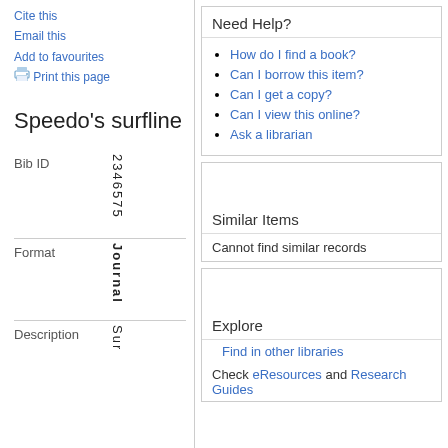Cite this
Email this
Add to favourites
Print this page
Speedo's surfline
Bib ID   2 3 4 6 5 7 5
Format   Journal
Description   Sur
Need Help?
How do I find a book?
Can I borrow this item?
Can I get a copy?
Can I view this online?
Ask a librarian
Similar Items
Cannot find similar records
Explore
Find in other libraries
Check eResources and Research Guides